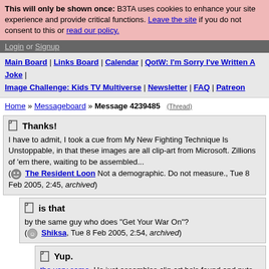This will only be shown once: B3TA uses cookies to enhance your site experience and provide critical functions. Leave the site if you do not consent to this or read our policy.
Login or Signup
Main Board | Links Board | Calendar | QotW: I'm Sorry I've Written A Joke | Image Challenge: Kids TV Multiverse | Newsletter | FAQ | Patreon
Home » Messageboard » Message 4239485 (Thread)
Thanks! I have to admit, I took a cue from My New Fighting Technique Is Unstoppable, in that these images are all clip-art from Microsoft. Zillions of 'em there, waiting to be assembled... (The Resident Loon Not a demographic. Do not measure., Tue 8 Feb 2005, 2:45, archived)
is that by the same guy who does "Get Your War On"? (Shiksa, Tue 8 Feb 2005, 2:54, archived)
Yup. the very same. He just assembles clip art he's found and puts in dialogue, and voila, instant comic. And since I can't draw worth shit, I figured it would work for me too... (The Resident Loon Not a demographic. Do not measure., Tue 8 Feb 2005, 2:59, archived)